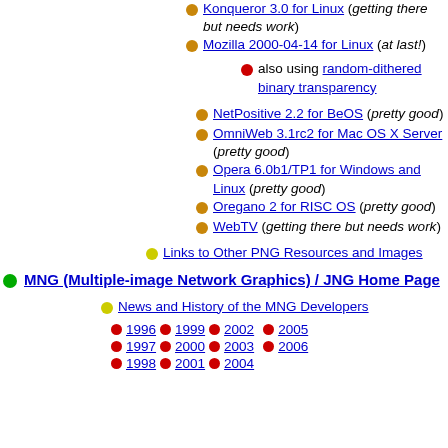Konqueror 3.0 for Linux (getting there but needs work)
Mozilla 2000-04-14 for Linux (at last!)
also using random-dithered binary transparency
NetPositive 2.2 for BeOS (pretty good)
OmniWeb 3.1rc2 for Mac OS X Server (pretty good)
Opera 6.0b1/TP1 for Windows and Linux (pretty good)
Oregano 2 for RISC OS (pretty good)
WebTV (getting there but needs work)
Links to Other PNG Resources and Images
MNG (Multiple-image Network Graphics) / JNG Home Page
News and History of the MNG Developers
1996 1999 2002 2005 1997 2000 2003 2006 1998 2001 2004